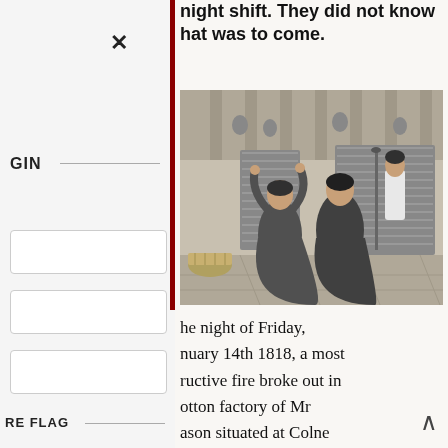night shift. They did not know that was to come.
[Figure (illustration): Black and white engraving of two women workers in a Victorian cotton mill, standing among rows of spinning machinery. One woman raises her arms above her head, the other stands with back turned. A man in white coat stands in the background among textile machinery.]
he night of Friday, nuary 14th 1818, a most ructive fire broke out in otton factory of Mr ason situated at Colne